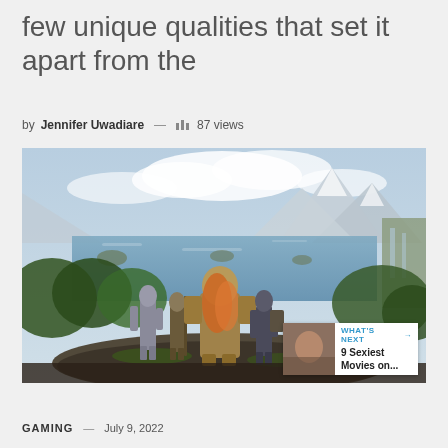few unique qualities that set it apart from the
by Jennifer Uwadiare — 87 views
[Figure (photo): Fantasy game art scene showing four characters standing on a rocky outcrop overlooking a vast landscape with mountains, lakes, waterfalls, and lush vegetation. A large creature/character with orange fur or feathers is in the center. Overlay in bottom right shows a 'What's Next' thumbnail with '9 Sexiest Movies on...']
GAMING — July 9, 2022